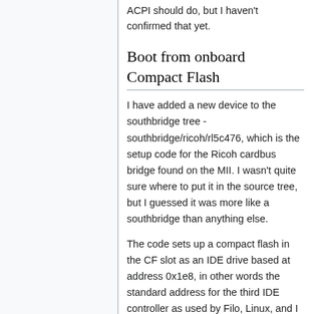ACPI should do, but I haven't confirmed that yet.
Boot from onboard Compact Flash
I have added a new device to the southbridge tree - southbridge/ricoh/rl5c476, which is the setup code for the Ricoh cardbus bridge found on the MII. I wasn't quite sure where to put it in the source tree, but I guessed it was more like a southbridge than anything else.
The code sets up a compact flash in the CF slot as an IDE drive based at address 0x1e8, in other words the standard address for the third IDE controller as used by Filo, Linux, and I guess Etherboot.